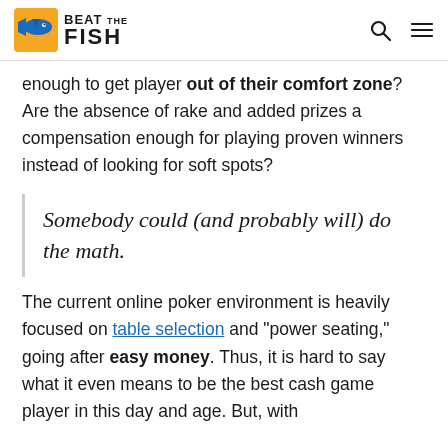Beat The Fish
enough to get player out of their comfort zone? Are the absence of rake and added prizes a compensation enough for playing proven winners instead of looking for soft spots?
Somebody could (and probably will) do the math.
The current online poker environment is heavily focused on table selection and "power seating," going after easy money. Thus, it is hard to say what it even means to be the best cash game player in this day and age. But, with